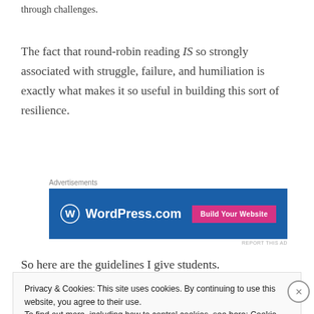through challenges.
The fact that round-robin reading IS so strongly associated with struggle, failure, and humiliation is exactly what makes it so useful in building this sort of resilience.
[Figure (other): WordPress.com advertisement banner with blue background, WordPress logo, and 'Build Your Website' pink button]
So here are the guidelines I give students.
Privacy & Cookies: This site uses cookies. By continuing to use this website, you agree to their use.
To find out more, including how to control cookies, see here: Cookie Policy